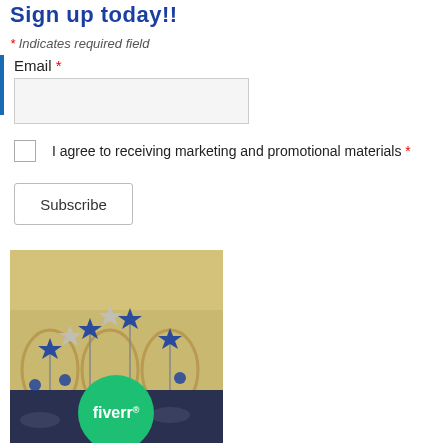Sign up today!!
* Indicates required field
Email *
I agree to receiving marketing and promotional materials *
Subscribe
[Figure (photo): Photo of a banquet hall decorated with blue and silver star-shaped balloons on stands, with arched windows in the background. A green Fiverr logo circle overlays the bottom center of the image.]